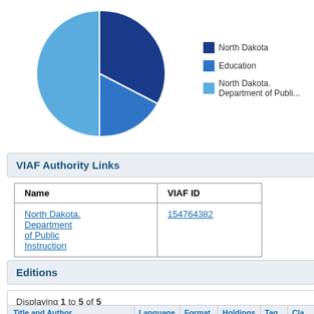[Figure (pie-chart): ]
VIAF Authority Links
| Name | VIAF ID |
| --- | --- |
| North Dakota. Department of Public Instruction | 154764382 |
Editions
Displaying 1 to 5 of 5
| Title and Author | Language | Format | Holdings | Tag | Cla... |
| --- | --- | --- | --- | --- | --- |